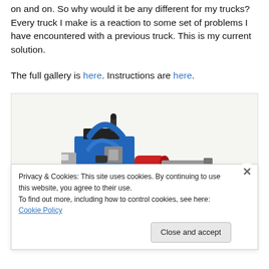on and on.  So why would it be any different for my trucks?  Every truck I make is a reaction to some set of problems I have encountered with a previous truck.  This is my current solution.
The full gallery is here. Instructions are here.
[Figure (photo): A LEGO Technic truck/vehicle model shown from the side, featuring blue and black pieces with a red element, on a white background.]
Privacy & Cookies: This site uses cookies. By continuing to use this website, you agree to their use.
To find out more, including how to control cookies, see here: Cookie Policy
Close and accept